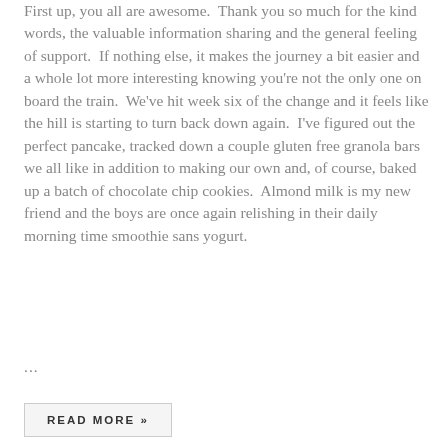First up, you all are awesome.  Thank you so much for the kind words, the valuable information sharing and the general feeling of support.  If nothing else, it makes the journey a bit easier and a whole lot more interesting knowing you're not the only one on board the train.  We've hit week six of the change and it feels like the hill is starting to turn back down again.  I've figured out the perfect pancake, tracked down a couple gluten free granola bars we all like in addition to making our own and, of course, baked up a batch of chocolate chip cookies.  Almond milk is my new friend and the boys are once again relishing in their daily morning time smoothie sans yogurt.
...
READ MORE »